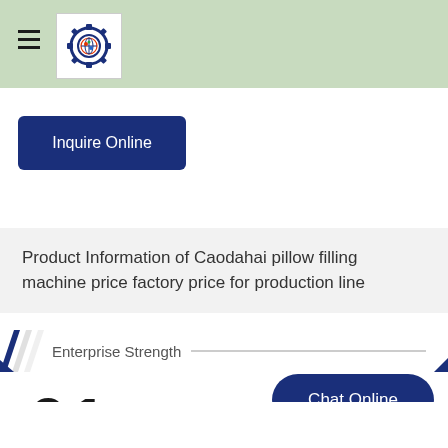[Figure (logo): Caodahai company gear/globe logo icon inside a white box on a green header bar]
Inquire Online
Product Information of Caodahai pillow filling machine price factory price for production line
Enterprise Strength
01
Chat Online